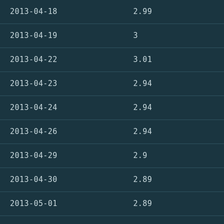| 2013-04-18 | 2.99 |
| 2013-04-19 | 3 |
| 2013-04-22 | 3.01 |
| 2013-04-23 | 2.94 |
| 2013-04-24 | 2.94 |
| 2013-04-26 | 2.94 |
| 2013-04-29 | 2.9 |
| 2013-04-30 | 2.89 |
| 2013-05-01 | 2.89 |
| 2013-05-02 | 2.83 |
| 2013-05-03 | 2.83 |